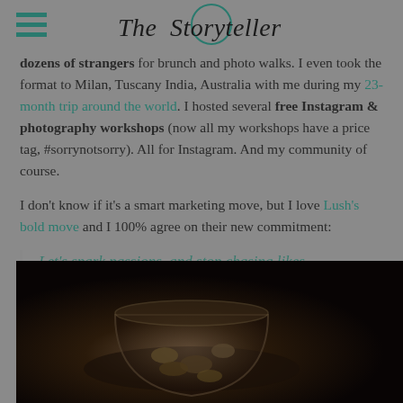The Storyteller
dozens of strangers for brunch and photo walks. I even took the format to Milan, Tuscany India, Australia with me during my 23-month trip around the world. I hosted several free Instagram & photography workshops (now all my workshops have a price tag, #sorrynotsorry). All for Instagram. And my community of course.
I don't know if it's a smart marketing move, but I love Lush's bold move and I 100% agree on their new commitment:
Let's spark passions, and stop chasing likes.
[Figure (photo): Dark close-up photo of a glass jar or bowl with some food/nuts inside, on a dark background]